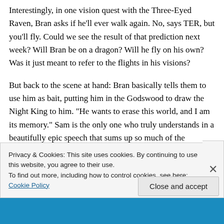Interestingly, in one vision quest with the Three-Eyed Raven, Bran asks if he'll ever walk again. No, says TER, but you'll fly. Could we see the result of that prediction next week? Will Bran be on a dragon? Will he fly on his own? Was it just meant to refer to the flights in his visions?
But back to the scene at hand: Bran basically tells them to use him as bait, putting him in the Godswood to draw the Night King to him. "He wants to erase this world, and I am its memory." Sam is the only one who truly understands in a beautifully epic speech that sums up so much of the
Privacy & Cookies: This site uses cookies. By continuing to use this website, you agree to their use.
To find out more, including how to control cookies, see here: Cookie Policy